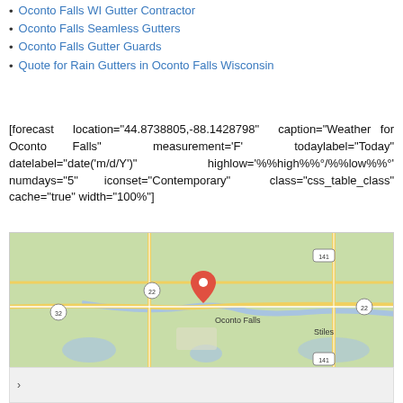Oconto Falls WI Gutter Contractor
Oconto Falls Seamless Gutters
Oconto Falls Gutter Guards
Quote for Rain Gutters in Oconto Falls Wisconsin
[forecast location="44.8738805,-88.1428798" caption="Weather for Oconto Falls" measurement='F' todaylabel="Today" datelabel="date('m/d/Y')" highlow='%%high%%°/%%low%%°' numdays="5" iconset="Contemporary" class="css_table_class" cache="true" width="100%"]
[Figure (map): Google Maps view of Oconto Falls, Wisconsin showing roads, route markers (22, 32, 141), a red location pin labeled 'Oconto Falls', and a nearby label 'Stiles'. The map has a light green background with yellow roads and blue water features.]
›